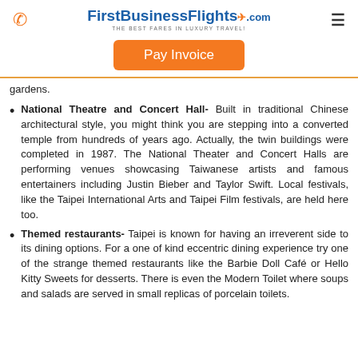FirstBusinessFlights.com — THE BEST FARES IN LUXURY TRAVEL!
Pay Invoice
gardens.
National Theatre and Concert Hall- Built in traditional Chinese architectural style, you might think you are stepping into a converted temple from hundreds of years ago. Actually, the twin buildings were completed in 1987. The National Theater and Concert Halls are performing venues showcasing Taiwanese artists and famous entertainers including Justin Bieber and Taylor Swift. Local festivals, like the Taipei International Arts and Taipei Film festivals, are held here too.
Themed restaurants- Taipei is known for having an irreverent side to its dining options. For a one of kind eccentric dining experience try one of the strange themed restaurants like the Barbie Doll Café or Hello Kitty Sweets for desserts. There is even the Modern Toilet where soups and salads are served in small replicas of porcelain toilets.